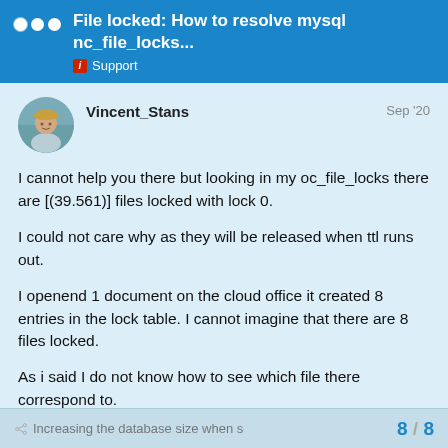File locked: How to resolve mysql nc_file_locks... i Support
[Figure (photo): User avatar photo of Vincent_Stans - person wearing a cap]
Vincent_Stans
Sep '20
I cannot help you there but looking in my oc_file_locks there are [(39.561)] files locked with lock 0.
I could not care why as they will be released when ttl runs out.
I openend 1 document on the cloud office it created 8 entries in the lock table. I cannot imagine that there are 8 files locked.
As i said I do not know how to see which file there correspond to.
Increasing the database size when sca… 8 / 8